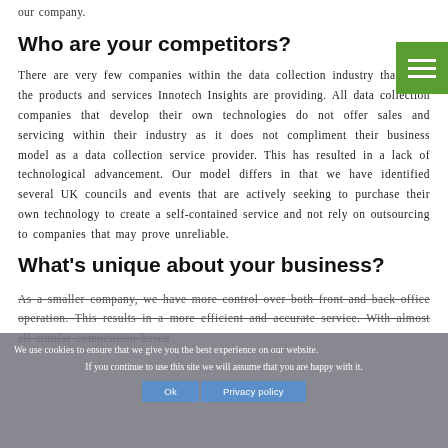our company.
Who are your competitors?
There are very few companies within the data collection industry that offer the products and services Innotech Insights are providing. All data collection companies that develop their own technologies do not offer sales and servicing within their industry as it does not compliment their business model as a data collection service provider. This has resulted in a lack of technological advancement. Our model differs in that we have identified several UK councils and events that are actively seeking to purchase their own technology to create a self-contained service and not rely on outsourcing to companies that may prove unreliable.
What's unique about your business?
As a smaller company, we have more control over both front and back office operation. This results in a more efficient and accurate service. With almost all similar competition based
We use cookies to ensure that we give you the best experience on our website. If you continue to use this site we will assume that you are happy with it.